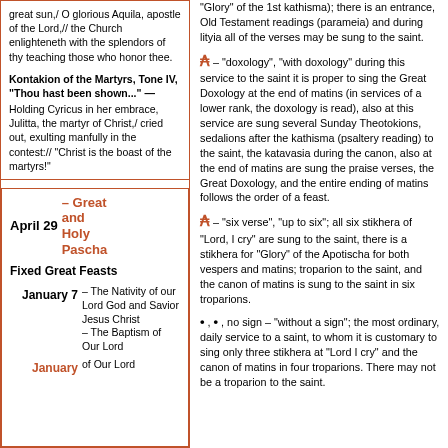great sun,/ O glorious Aquila, apostle of the Lord,// the Church enlighteneth with the splendors of thy teaching those who honor thee.
Kontakion of the Martyrs, Tone IV, "Thou hast been shown..." — Holding Cyricus in her embrace, Julitta, the martyr of Christ,/ cried out, exulting manfully in the contest:// "Christ is the boast of the martyrs!"
April 29 – Great and Holy Pascha
Fixed Great Feasts
January 7 – The Nativity of our Lord God and Savior Jesus Christ – The Baptism of Our Lord
ℰ – "doxology", "with doxology" during this service to the saint it is proper to sing the Great Doxology at the end of matins (in services of a lower rank, the doxology is read), also at this service are sung several Sunday Theotokions, sedalions after the kathisma (psaltery reading) to the saint, the katavasia during the canon, also at the end of matins are sung the praise verses, the Great Doxology, and the entire ending of matins follows the order of a feast.
ℰ – "six verse", "up to six"; all six stikhera of "Lord, I cry" are sung to the saint, there is a stikhera for "Glory" of the Apotischa for both vespers and matins; troparion to the saint, and the canon of matins is sung to the saint in six troparions.
• , • , no sign – "without a sign"; the most ordinary, daily service to a saint, to whom it is customary to sing only three stikhera at "Lord I cry" and the canon of matins in four troparions. There may not be a troparion to the saint.